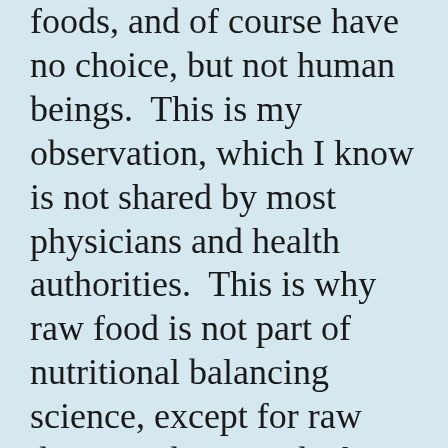foods, and of course have no choice, but not human beings.  This is my observation, which I know is not shared by most physicians and health authorities.  This is why raw food is not part of nutritional balancing science, except for raw dairy products, and why the more raw vegetables and fruits a person eats, the weaker he will generally become, over time.  Do not be fooled by the temporary stimulation that occurs with fruit and even salads.  This is not the same as true...